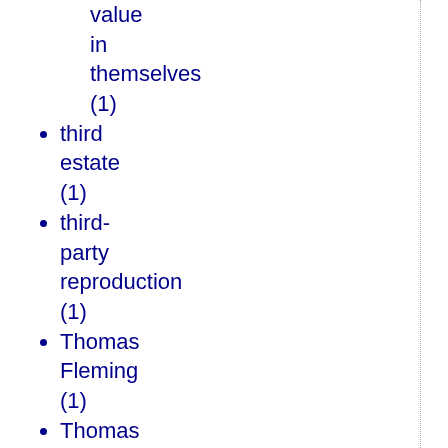value in themselves (1)
third estate (1)
third-party reproduction (1)
Thomas Fleming (1)
Thomas Frank (2)
Thomas Friedman (1)
Thomism (1)
Thorsten Veblen (1)